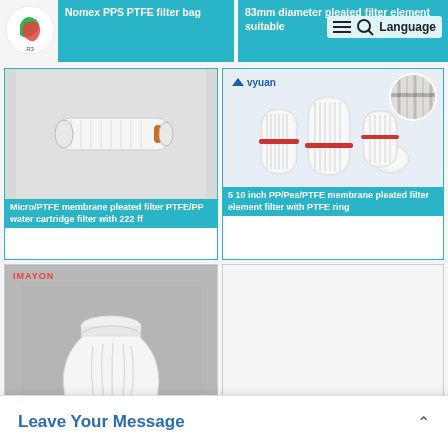[Figure (screenshot): Website product listing page for industrial filter products showing logo, navigation icons, product cards with images and descriptions, and a Leave Your Message bar]
Nomex PPS PTFE filter bag
83mm diameter pleated filter element suitable
[Figure (photo): White pleated membrane filter cartridge with orange o-ring seal]
Micro/PTFE membrane pleated filter PTFE/PP water cartridge filter with 222 ff
[Figure (photo): Group of white pleated filter cartridges with red gaskets, Lvyuan brand]
5 10 inch PP/Pes/PTFE membrane pleated filter element filter with PTFE ring
[Figure (photo): White filter bag with pleated collar, Imayon brand, on grey background]
[Figure (photo): White product image placeholder with teal circle]
Leave Your Message